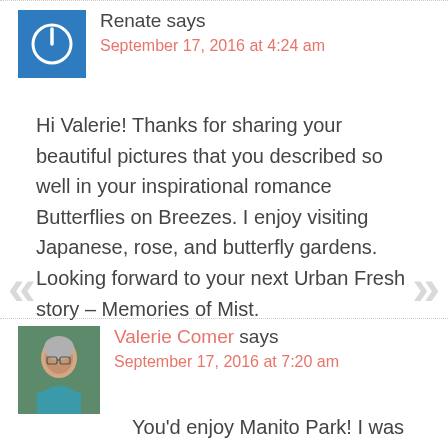[Figure (other): Blue square avatar with white power/circle icon for commenter Renate]
Renate says
September 17, 2016 at 4:24 am
Hi Valerie! Thanks for sharing your beautiful pictures that you described so well in your inspirational romance Butterflies on Breezes. I enjoy visiting Japanese, rose, and butterfly gardens. Looking forward to your next Urban Fresh story – Memories of Mist.
[Figure (photo): Profile photo of Valerie Comer, woman with short gray hair and glasses]
Valerie Comer says
September 17, 2016 at 7:20 am
You'd enjoy Manito Park! I was hoping to make it back in the summertime, but too much camping